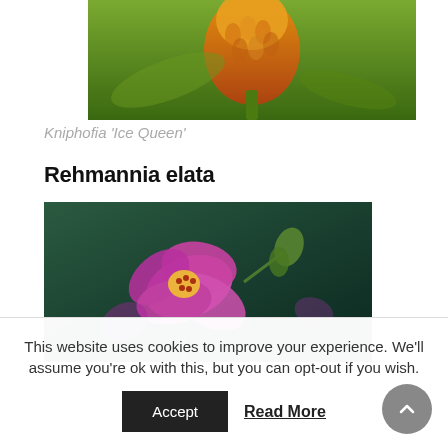[Figure (photo): Close-up photo of Kniphofia 'Ice Queen' flower with orange and yellow blooms against green background]
Kniphofia ‘Ice Queen’
Rehmannia elata
[Figure (photo): Close-up photo of Rehmannia elata pink flowers with yellow stamens against dark green background]
This website uses cookies to improve your experience. We'll assume you're ok with this, but you can opt-out if you wish.